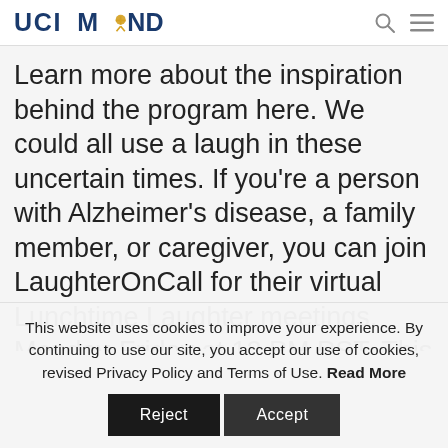UCI MIND
Learn more about the inspiration behind the program here. We could all use a laugh in these uncertain times. If you're a person with Alzheimer's disease, a family member, or caregiver, you can join LaughterOnCall for their virtual Lunchtime Laughter meetings, Monday-Friday at 12 PM PST. This webinar offers a light-hearted, engaging way to
This website uses cookies to improve your experience. By continuing to use our site, you accept our use of cookies, revised Privacy Policy and Terms of Use. Read More
Reject  Accept